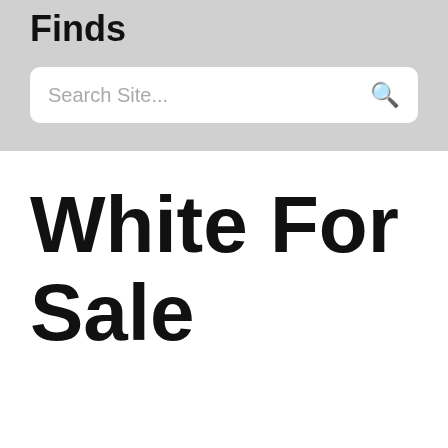Finds
Search Site...
White For Sale